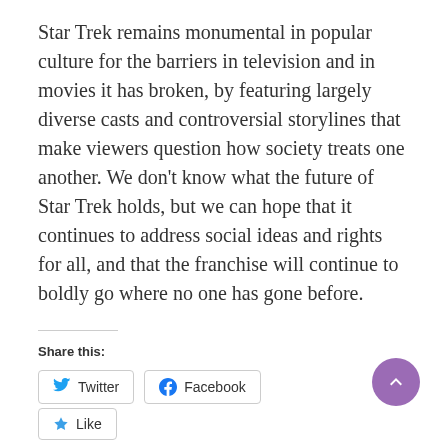Star Trek remains monumental in popular culture for the barriers in television and in movies it has broken, by featuring largely diverse casts and controversial storylines that make viewers question how society treats one another. We don’t know what the future of Star Trek holds, but we can hope that it continues to address social ideas and rights for all, and that the franchise will continue to boldly go where no one has gone before.
Share this:
Twitter
Facebook
Like